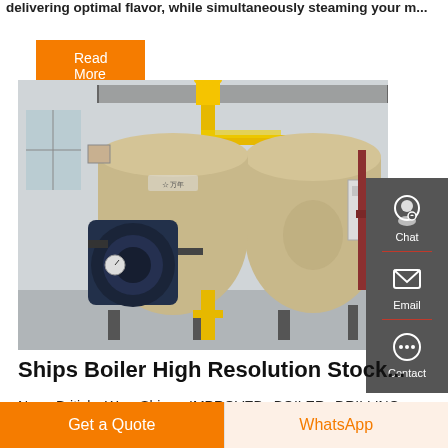delivering optimal flavor, while simultaneously steaming your m...
Read More
[Figure (photo): Industrial steam boiler equipment in a factory setting, showing large cylindrical boiler tanks with yellow piping and a dark burner unit on the left.]
Chat
Email
Contact
Ships Boiler High Resolution Stock...
New   British   War   Ships.   IMPROVED   BOILER   DRILLING
Get a Quote
WhatsApp